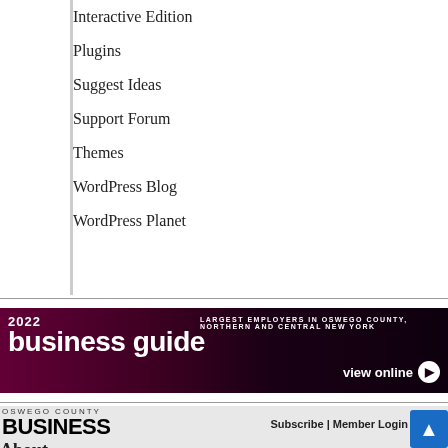Interactive Edition
Plugins
Suggest Ideas
Support Forum
Themes
WordPress Blog
WordPress Planet
[Figure (other): 2022 Business Guide banner ad - Largest Employers in Oswego County, Northern and Central New York - view online button]
[Figure (logo): Oswego County Business logo]
Subscribe | Member Login
About